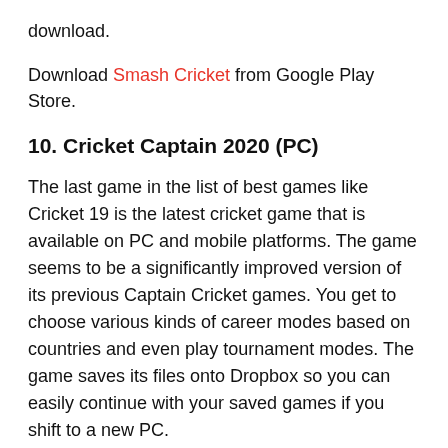download.
Download Smash Cricket from Google Play Store.
10. Cricket Captain 2020 (PC)
The last game in the list of best games like Cricket 19 is the latest cricket game that is available on PC and mobile platforms. The game seems to be a significantly improved version of its previous Captain Cricket games. You get to choose various kinds of career modes based on countries and even play tournament modes. The game saves its files onto Dropbox so you can easily continue with your saved games if you shift to a new PC.